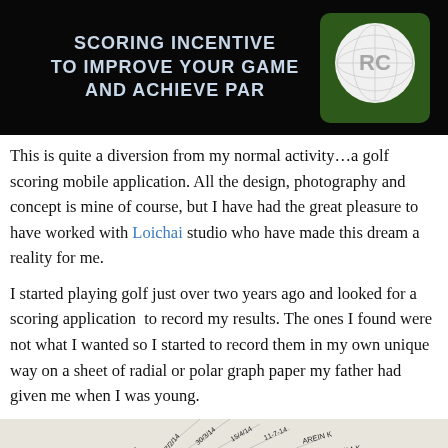[Figure (screenshot): Dark banner image with text 'SCORING INCENTIVE TO IMPROVE YOUR GAME AND ACHIEVE PAR' on the left and a golf ball with 'RC' logo on the right, against a black background.]
This is quite a diversion from my normal activity…a golf scoring mobile application. All the design, photography and concept is mine of course, but I have had the great pleasure to have worked with Loichai studio who have made this dream a reality for me.
I started playing golf just over two years ago and looked for a scoring application  to record my results. The ones I found were not what I wanted so I started to record them in my own unique way on a sheet of radial or polar graph paper my father had given me when I was young.
[Figure (photo): Partial view of a handwritten radial/polar graph paper with golf scores and dates written on it.]